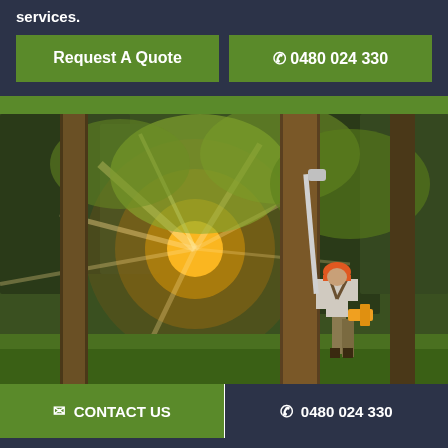services.
Request A Quote
📞 0480 024 330
[Figure (photo): A tree surgeon/arborist wearing an orange helmet and harness uses a long pole saw to trim branches high in a forest of tall trees, with bright sunlight flaring through the canopy in the background.]
✉ CONTACT US
📞 0480 024 330